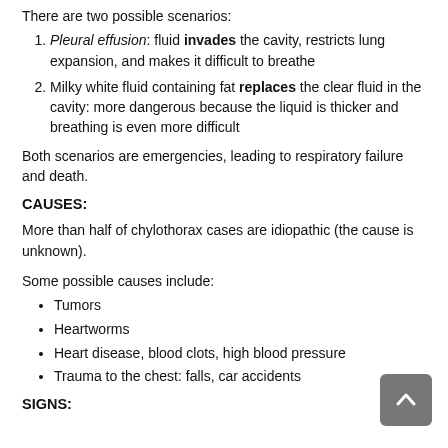There are two possible scenarios:
Pleural effusion: fluid invades the cavity, restricts lung expansion, and makes it difficult to breathe
Milky white fluid containing fat replaces the clear fluid in the cavity: more dangerous because the liquid is thicker and breathing is even more difficult
Both scenarios are emergencies, leading to respiratory failure and death.
CAUSES:
More than half of chylothorax cases are idiopathic (the cause is unknown).
Some possible causes include:
Tumors
Heartworms
Heart disease, blood clots, high blood pressure
Trauma to the chest: falls, car accidents
SIGNS: